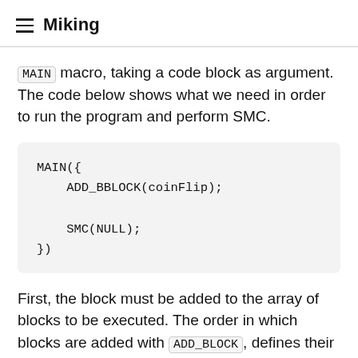≡ Miking
MAIN macro, taking a code block as argument. The code below shows what we need in order to run the program and perform SMC.
MAIN({
    ADD_BBLOCK(coinFlip);

    SMC(NULL);
})
First, the block must be added to the array of blocks to be executed. The order in which blocks are added with ADD_BLOCK, defines their order in the array and thus defines the order of execution together with the program counter. Secondly, the